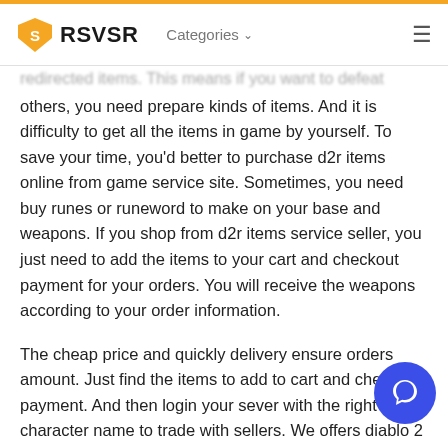RSVSR  Categories  ☰
redirected items. This means if you want to defeat others, you need prepare kinds of items. And it is difficulty to get all the items in game by yourself. To save your time, you'd better to purchase d2r items online from game service site. Sometimes, you need buy runes or runeword to make on your base and weapons. If you shop from d2r items service seller, you just need to add the items to your cart and checkout payment for your orders. You will receive the weapons according to your order information.
The cheap price and quickly delivery ensure orders amount. Just find the items to add to cart and checkout payment. And then login your sever with the right character name to trade with sellers. We offers diablo 2 services for many years. You can